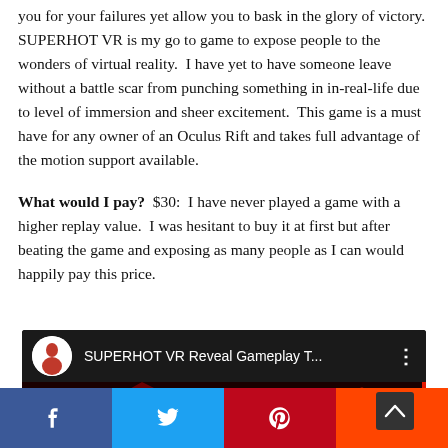you for your failures yet allow you to bask in the glory of victory.  SUPERHOT VR is my go to game to expose people to the wonders of virtual reality.  I have yet to have someone leave without a battle scar from punching something in in-real-life due to level of immersion and sheer excitement.  This game is a must have for any owner of an Oculus Rift and takes full advantage of the motion support available.
What would I pay?  $30:  I have never played a game with a higher replay value.  I was hesitant to buy it at first but after beating the game and exposing as many people as I can would happily pay this price.
[Figure (screenshot): YouTube embed thumbnail for 'SUPERHOT VR Reveal Gameplay T...' with dark header showing channel avatar (red figure icon on white circle), video title, three-dot menu, and a red/dark thumbnail with a chevron up button.]
[Figure (infographic): Social media sharing bar with four buttons: Facebook (blue), Twitter (light blue), Pinterest (red), Reddit (orange-red), each showing the respective platform icon in white.]